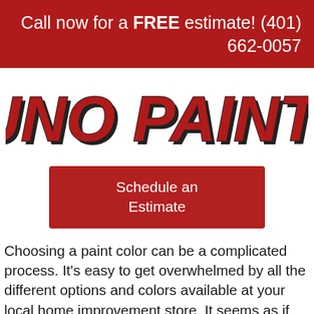Call now for a FREE estimate! (401) 662-0057
[Figure (logo): Bruno Painting logo in large bold italic red letters with dark shadow]
Schedule an Estimate
Choosing a paint color can be a complicated process. It's easy to get overwhelmed by all the different options and colors available at your local home improvement store. It seems as if every brand has shades and hues that are just slightly different than the next. Here to